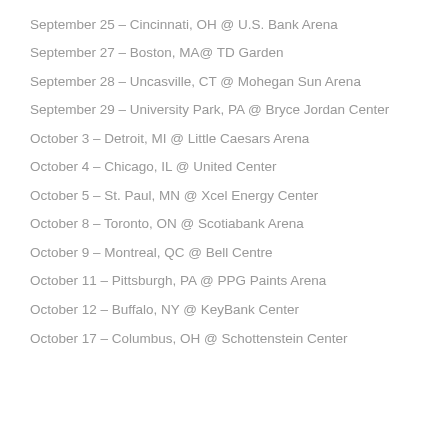September 25 – Cincinnati, OH @ U.S. Bank Arena
September 27 – Boston, MA@ TD Garden
September 28 – Uncasville, CT @ Mohegan Sun Arena
September 29 – University Park, PA @ Bryce Jordan Center
October 3 – Detroit, MI @ Little Caesars Arena
October 4 – Chicago, IL @ United Center
October 5 – St. Paul, MN @ Xcel Energy Center
October 8 – Toronto, ON @ Scotiabank Arena
October 9 – Montreal, QC @ Bell Centre
October 11 – Pittsburgh, PA @ PPG Paints Arena
October 12 – Buffalo, NY @ KeyBank Center
October 17 – Columbus, OH @ Schottenstein Center